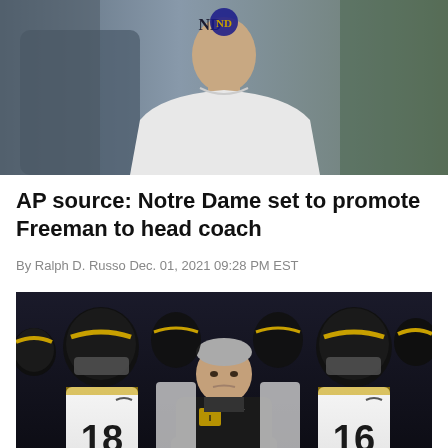[Figure (photo): A person wearing a white Notre Dame hoodie with the ND logo visible, photographed from chest up against a blurred outdoor background.]
AP source: Notre Dame set to promote Freeman to head coach
By Ralph D. Russo Dec. 01, 2021 09:28 PM EST
[Figure (photo): Iowa Hawkeyes football coach Kirk Ferentz standing in front of players in black and gold helmets and white jerseys with numbers 18 and 16 visible, in a dark tunnel or corridor before a game.]